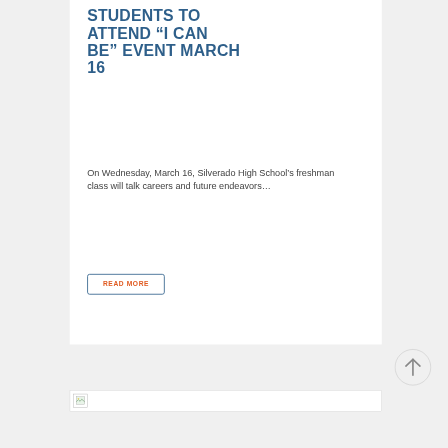STUDENTS TO ATTEND “I CAN BE” EVENT MARCH 16
On Wednesday, March 16, Silverado High School’s freshman class will talk careers and future endeavors…
READ MORE
[Figure (other): Scroll-to-top button (arrow up in circle)]
[Figure (other): Footer image bar with small icon]